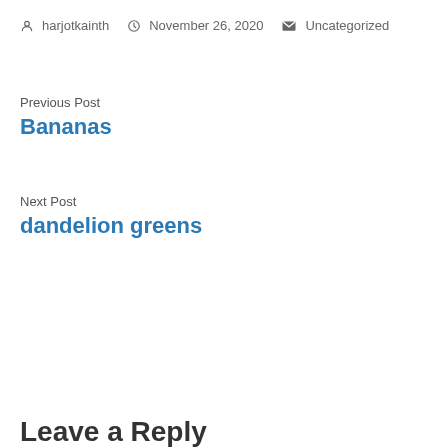harjotkainth  November 26, 2020  Uncategorized
Previous Post
Bananas
Next Post
dandelion greens
Leave a Reply